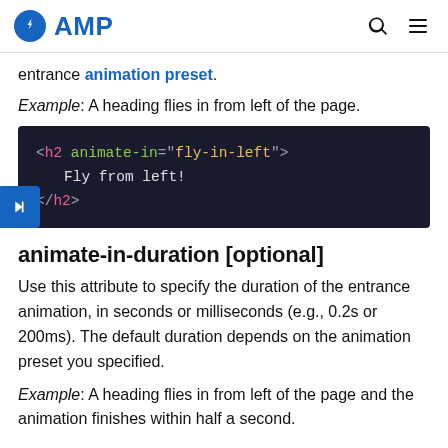AMP
entrance animation preset.
Example: A heading flies in from left of the page.
[Figure (screenshot): Code block showing HTML: <h2 animate-in="fly-in-left">  Fly from left! </h2>]
animate-in-duration [optional]
Use this attribute to specify the duration of the entrance animation, in seconds or milliseconds (e.g., 0.2s or 200ms). The default duration depends on the animation preset you specified.
Example: A heading flies in from left of the page and the animation finishes within half a second.